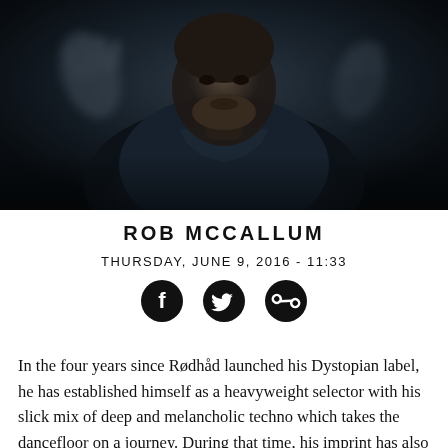[Figure (photo): Dark atmospheric portrait photo of a man with beard and dark jacket, looking downward, with blurred ghostly hands visible]
ROB MCCALLUM
THURSDAY, JUNE 9, 2016 - 11:33
[Figure (infographic): Social sharing icons: Facebook, Twitter, and link/chain icon]
In the four years since Rødhåd launched his Dystopian label, he has established himself as a heavyweight selector with his slick mix of deep and melancholic techno which takes the dancefloor on a journey. During that time, his imprint has also become a discerning seal of